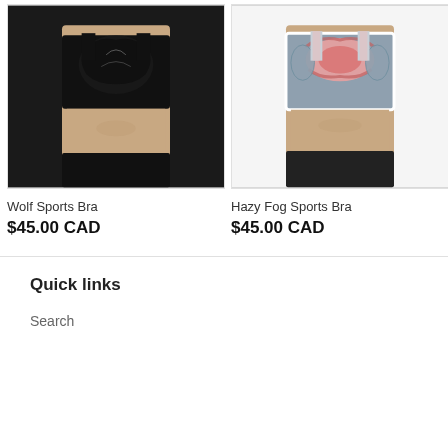[Figure (photo): Woman wearing Wolf Sports Bra - black sports bra with dark wolf graphic design]
[Figure (photo): Woman wearing Hazy Fog Sports Bra - gray sports bra with pink and gray Native art design]
Wolf Sports Bra
$45.00 CAD
Hazy Fog Sports Bra
$45.00 CAD
Quick links
Search